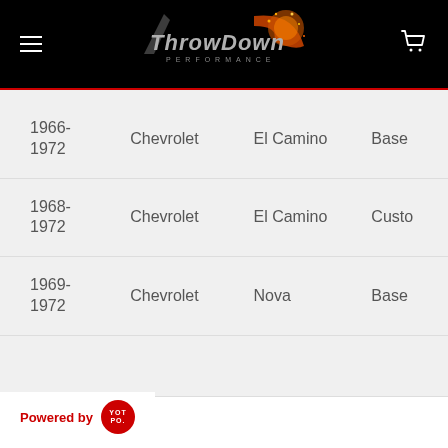[Figure (logo): ThrowDown Performance logo on black background with speedometer graphic and navigation elements (hamburger menu, cart icon)]
| Year | Make | Model | Trim |
| --- | --- | --- | --- |
| 1966-1972 | Chevrolet | El Camino | Base |
| 1968-1972 | Chevrolet | El Camino | Custo... |
| 1969-1972 | Chevrolet | Nova | Base |
Powered by YOTPO